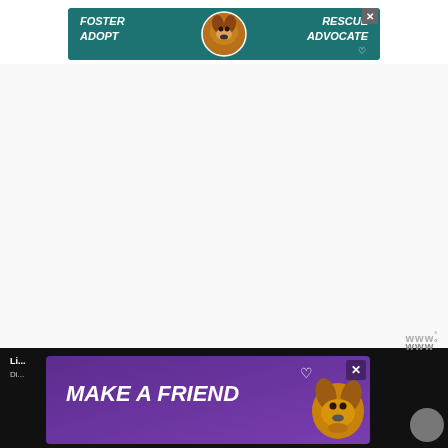[Figure (infographic): Advertisement banner: teal/dark green background with a beagle dog image in center. Text reads 'FOSTER RESCUE ADOPT ADVOCATE' in white bold italic. Close button (X) in top right corner.]
[Figure (other): Large white empty area (webpage content area, likely ad placeholder or blank content section)]
www°
[Figure (infographic): Advertisement banner at bottom: purple/violet background with a beagle/basset hound dog image on right side. Text reads 'MAKE A FRIEND' in white bold italic. Heart icon decoration. Close button (X) top right corner.]
Li...
Di... Each...